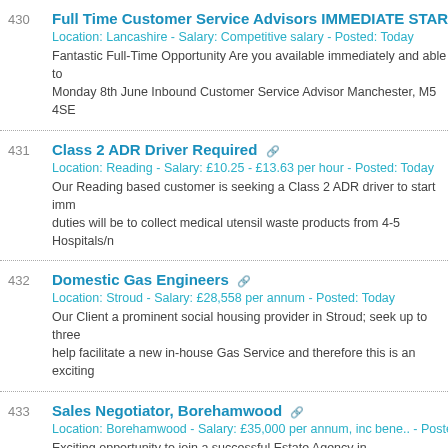430 Full Time Customer Service Advisors IMMEDIATE START
Location: Lancashire - Salary: Competitive salary - Posted: Today
Fantastic Full-Time Opportunity Are you available immediately and able to
Monday 8th June Inbound Customer Service Advisor Manchester, M5 4SE
431 Class 2 ADR Driver Required
Location: Reading - Salary: £10.25 - £13.63 per hour - Posted: Today
Our Reading based customer is seeking a Class 2 ADR driver to start imm
duties will be to collect medical utensil waste products from 4-5 Hospitals/n
432 Domestic Gas Engineers
Location: Stroud - Salary: £28,558 per annum - Posted: Today
Our Client a prominent social housing provider in Stroud; seek up to three
help facilitate a new in-house Gas Service and therefore this is an exciting
433 Sales Negotiator, Borehamwood
Location: Borehamwood - Salary: £35,000 per annum, inc bene.. - Posted
Exciting opportunity to join a successful Estate Agency in Borehamwood. O
Assistant Branch Manager level. Experience/ Skills required; Minimum 2 y